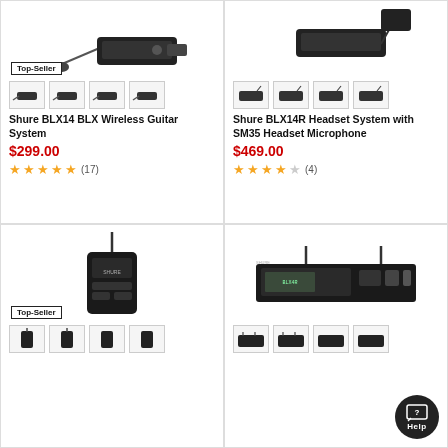[Figure (photo): Shure BLX14 BLX Wireless Guitar System product image with top-seller badge and 4 thumbnail images]
Shure BLX14 BLX Wireless Guitar System
$299.00
★★★★½ (17)
[Figure (photo): Shure BLX14R Headset System with SM35 Headset Microphone product image with 4 thumbnails]
Shure BLX14R Headset System with SM35 Headset Microphone
$469.00
★★★★☆ (4)
[Figure (photo): Shure bodypacks transmitter product image with top-seller badge and 2+ thumbnail images]
[Figure (photo): Shure wireless receiver/rack mount product image with thumbnail images and Help button overlay]